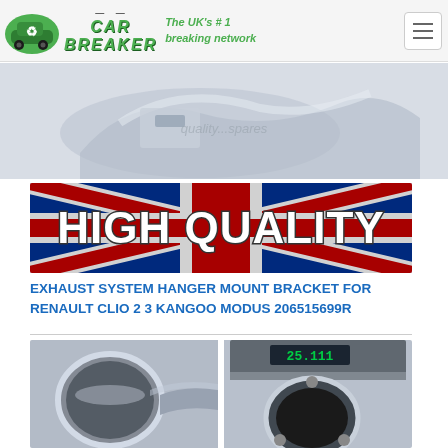[Figure (logo): Car Breaker logo with green recycling car icon and green stylized text 'CAR BREAKER', tagline 'The UK's #1 breaking network', and hamburger menu icon]
[Figure (photo): Close-up photo of a silver metal exhaust hanger mount bracket part on white background with watermark text]
[Figure (photo): High Quality banner with UK flag (Union Jack) background and bold white text 'HIGH QUALITY']
EXHAUST SYSTEM HANGER MOUNT BRACKET FOR RENAULT CLIO 2 3 KANGOO MODUS 206515699R
[Figure (photo): Two product photos side by side: left shows chrome exhaust pipe tip close-up, right shows exhaust flange being measured with digital caliper reading 25mm]